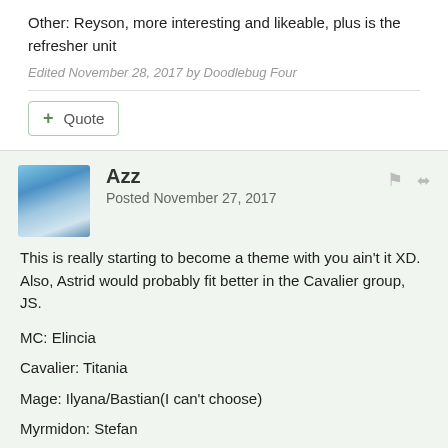Other: Reyson, more interesting and likeable, plus is the refresher unit
Edited November 28, 2017 by Doodlebug Four
Quote
Azz
Posted November 27, 2017
This is really starting to become a theme with you ain't it XD. Also, Astrid would probably fit better in the Cavalier group, JS.
MC: Elincia
Cavalier: Titania
Mage: Ilyana/Bastian(I can't choose)
Myrmidon: Stefan
Fighter: Largo
Soldier: Nephenee